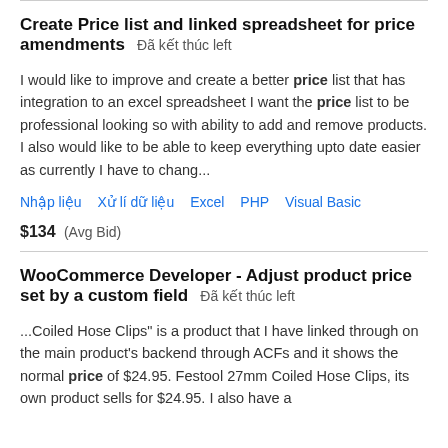Create Price list and linked spreadsheet for price amendments  Đã kết thúc left
I would like to improve and create a better price list that has integration to an excel spreadsheet I want the price list to be professional looking so with ability to add and remove products. I also would like to be able to keep everything upto date easier as currently I have to chang...
Nhập liệu  Xử lí dữ liệu  Excel  PHP  Visual Basic
$134  (Avg Bid)
WooCommerce Developer - Adjust product price set by a custom field  Đã kết thúc left
...Coiled Hose Clips" is a product that I have linked through on the main product's backend through ACFs and it shows the normal price of $24.95. Festool 27mm Coiled Hose Clips, its own product sells for $24.95. I also have a